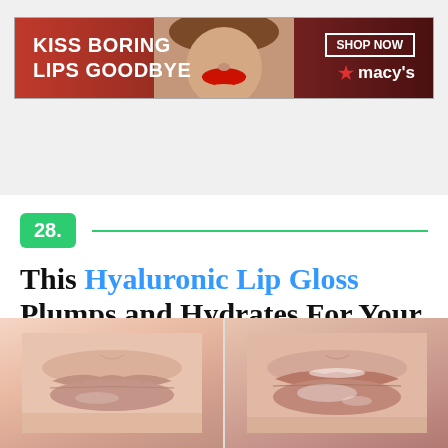[Figure (screenshot): Macy's advertisement banner: 'KISS BORING LIPS GOODBYE' with woman's face showing red lips, and 'SHOP NOW macy's' button on right, red background]
28. This Hyaluronic Lip Gloss Plumps and Hydrates For Your Perfect Pout
[Figure (photo): Side-by-side before and after images of lips showing the effect of hyaluronic lip gloss — left image shows natural bare lips, right image shows fuller more glossy lips]